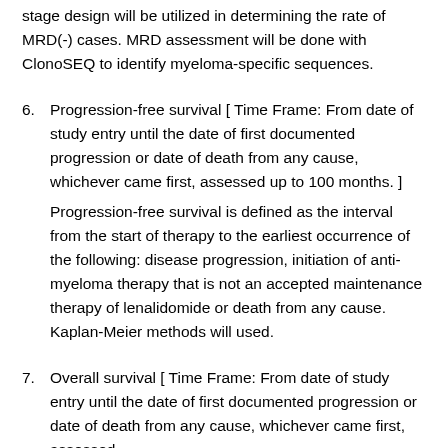stage design will be utilized in determining the rate of MRD(-) cases. MRD assessment will be done with ClonoSEQ to identify myeloma-specific sequences.
6. Progression-free survival [ Time Frame: From date of study entry until the date of first documented progression or date of death from any cause, whichever came first, assessed up to 100 months. ]
Progression-free survival is defined as the interval from the start of therapy to the earliest occurrence of the following: disease progression, initiation of anti-myeloma therapy that is not an accepted maintenance therapy of lenalidomide or death from any cause. Kaplan-Meier methods will used.
7. Overall survival [ Time Frame: From date of study entry until the date of first documented progression or date of death from any cause, whichever came first, assessed